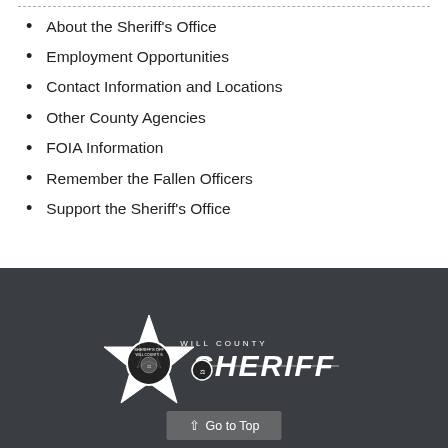About the Sheriff's Office
Employment Opportunities
Contact Information and Locations
Other County Agencies
FOIA Information
Remember the Fallen Officers
Support the Sheriff's Office
[Figure (logo): Will County Sheriff's Office star badge logo with text 'WILL COUNTY SHERIFF']